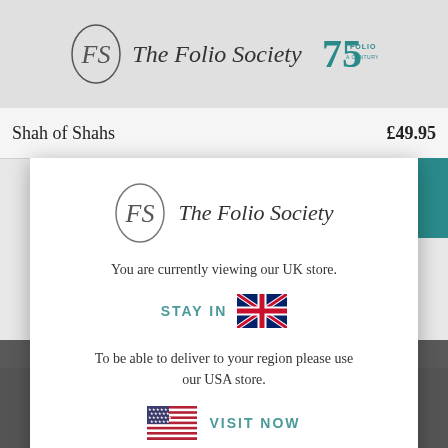The Folio Society
Shah of Shahs  £49.95
[Figure (screenshot): The Folio Society modal dialog showing store selection: 'You are currently viewing our UK store. STAY IN [UK flag]. To be able to deliver to your region please use our USA store. [US flag] VISIT NOW']
ACCEPT ALL